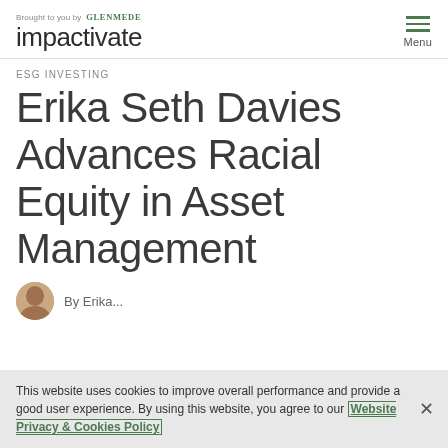Brought to you by GLENMEDE impactivate Menu
ESG INVESTING
Erika Seth Davies Advances Racial Equity in Asset Management
This website uses cookies to improve overall performance and provide a good user experience. By using this website, you agree to our Website Privacy & Cookies Policy